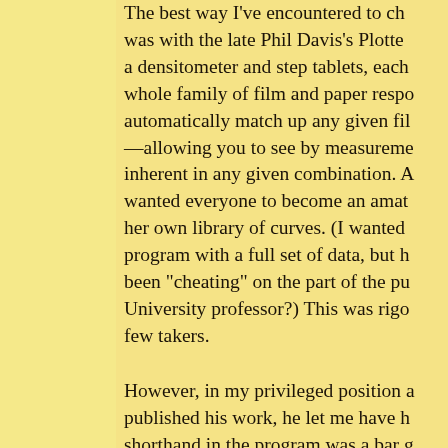The best way I've encountered to ch was with the late Phil Davis's Plotte a densitometer and step tablets, each whole family of film and paper respo automatically match up any given fil —allowing you to see by measureme inherent in any given combination. A wanted everyone to become an amat her own library of curves. (I wanted program with a full set of data, but h been "cheating" on the part of the pu University professor?) This was rigo few takers.
However, in my privileged position a published his work, he let me have h shorthand in the program was a bar g incremental grays. Against a theoreti another alongside it would show wha would do to the tones — shift them al